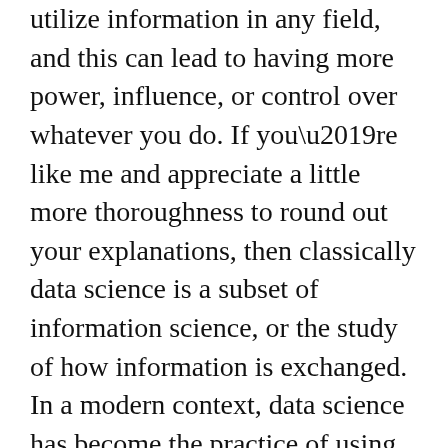utilize information in any field, and this can lead to having more power, influence, or control over whatever you do. If you're like me and appreciate a little more thoroughness to round out your explanations, then classically data science is a subset of information science, or the study of how information is exchanged. In a modern context, data science has become the practice of using computational machines, i.e. our trusty computers, to perform the time-consuming work of processing vast amounts of digital information found in “big data” to discover and create the knowledge we humans want to understand, interpret, and